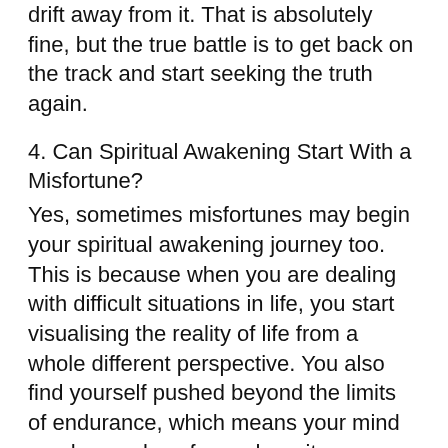drift away from it. That is absolutely fine, but the true battle is to get back on the track and start seeking the truth again.
4. Can Spiritual Awakening Start With a Misfortune?
Yes, sometimes misfortunes may begin your spiritual awakening journey too. This is because when you are dealing with difficult situations in life, you start visualising the reality of life from a whole different perspective. You also find yourself pushed beyond the limits of endurance, which means your mind reaches a place from where it may begin looking at things from an entirely different way, and thus the process of spiritual awakening may begin.